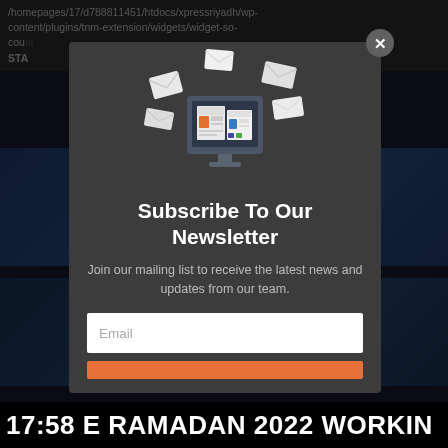/homepages/17/d788811451/htdocs/xpressriyadh/wp-content/plugins/tnm-extension/widgets/widget-so-count/STA
[Figure (screenshot): Newsletter subscription modal popup overlay on a dark website background. The modal has a dark grey background with an illustration of a computer monitor with envelopes/newsletters flying around it, a title 'Subscribe To Our Newsletter', subtitle text, an email input field, and an orange subscribe button. A close (X) button is in the top right corner of the modal.]
Subscribe To Our Newsletter
Join our mailing list to receive the latest news and updates from our team.
Email
17:58 E RAMADAN 2022 WORKIN